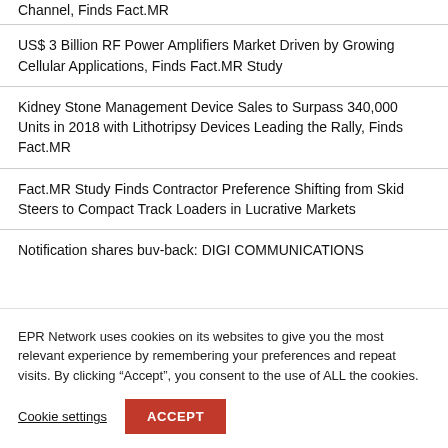Channel, Finds Fact.MR
US$ 3 Billion RF Power Amplifiers Market Driven by Growing Cellular Applications, Finds Fact.MR Study
Kidney Stone Management Device Sales to Surpass 340,000 Units in 2018 with Lithotripsy Devices Leading the Rally, Finds Fact.MR
Fact.MR Study Finds Contractor Preference Shifting from Skid Steers to Compact Track Loaders in Lucrative Markets
Notification shares buy-back: DIGI COMMUNICATIONS
EPR Network uses cookies on its websites to give you the most relevant experience by remembering your preferences and repeat visits. By clicking “Accept”, you consent to the use of ALL the cookies.
Cookie settings
ACCEPT